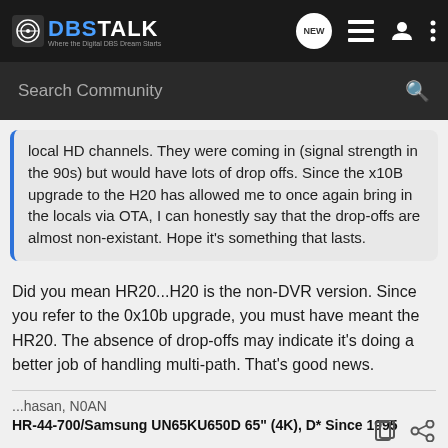DBSTALK — Where the Digital DBS Dream Starts
local HD channels. They were coming in (signal strength in the 90s) but would have lots of drop offs. Since the x10B upgrade to the H20 has allowed me to once again bring in the locals via OTA, I can honestly say that the drop-offs are almost non-existant. Hope it's something that lasts.
Did you mean HR20...H20 is the non-DVR version. Since you refer to the 0x10b upgrade, you must have meant the HR20. The absence of drop-offs may indicate it's doing a better job of handling multi-path. That's good news.
...hasan, N0AN
HR-44-700/Samsung UN65KU650D 65" (4K), D* Since 1995